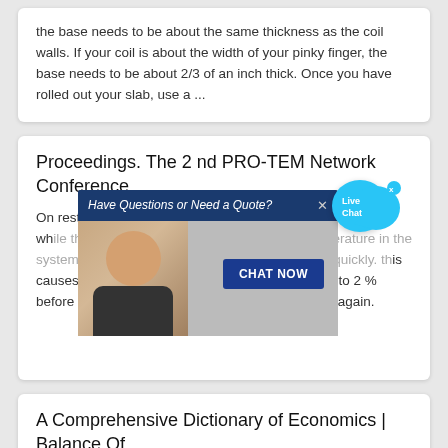the base needs to be about the same thickness as the coil walls. If your coil is about the width of your pinky finger, the base needs to be about 2/3 of an inch thick. Once you have rolled out your slab, use a ...
Proceedings. The 2 nd PRO-TEM Network Conference
[Figure (screenshot): Live chat popup overlay with a woman wearing a headset. Popup bar reads 'Have Questions or Need a Quote?' with an X close button. A 'CHAT NOW' button appears on the right side. A cyan 'Live Chat' speech bubble appears in the upper right corner.]
On restart of the fuel flow initially increases from 2% to 5% while the combustor temperature and the oil temperature in the system reaching the oil flow set point 174 oil very quickly. this causes a reduction in the fuel flow rate back down to 2 % before the potato slices begin to flow into the fryer again.
A Comprehensive Dictionary of Economics | Balance Of ...